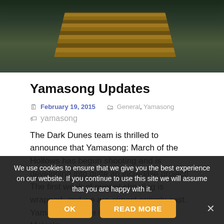[Figure (photo): Top portion of a photo showing dark green/brown background with wooden slat structure and mechanical equipment (possibly a puppet rig on a film set)]
Yamasong Updates
February 19, 2015   General, Yamasong   yamasong
The Dark Dunes team is thrilled to announce that Yamasong: March of the Hollows has begun shooting and is developing into quite an incredible project! The first week of puppet shooting is wrapped, and we are almost entirely cast. Yamasong will be brought to life by Malcolm McDowell, Bruce...
We use cookies to ensure that we give you the best experience on our website. If you continue to use this site we will assume that you are happy with it.